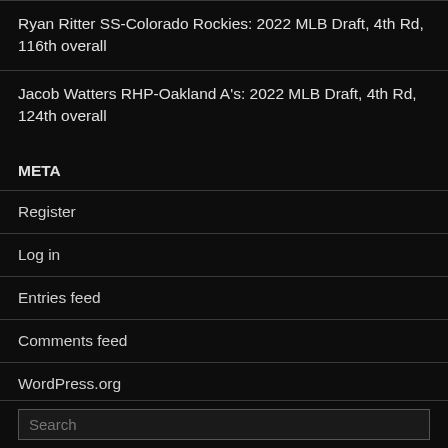Ryan Ritter SS-Colorado Rockies: 2022 MLB Draft, 4th Rd, 116th overall
Jacob Watters RHP-Oakland A's: 2022 MLB Draft, 4th Rd, 124th overall
META
Register
Log in
Entries feed
Comments feed
WordPress.org
Search